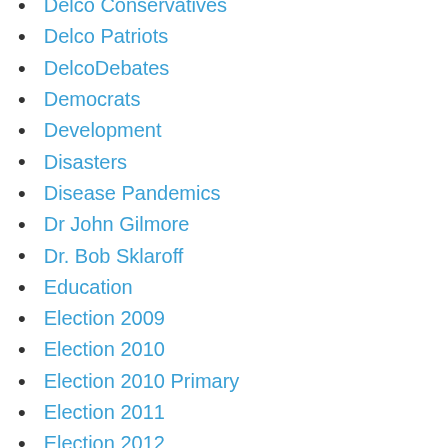Delco Conservatives
Delco Patriots
DelcoDebates
Democrats
Development
Disasters
Disease Pandemics
Dr John Gilmore
Dr. Bob Sklaroff
Education
Election 2009
Election 2010
Election 2010 Primary
Election 2011
Election 2012
Election 2013
Election 2014